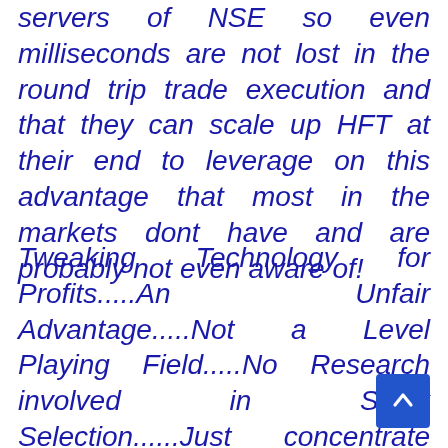servers of NSE so even milliseconds are not lost in the round trip trade execution and that they can scale up HFT at their end to leverage on this advantage that most in the markets dont have and are probably not even aware of!
Tweaking Technology for Profits.....An Unfair Advantage.....Not a Level Playing Field.....No Research involved in Stock Selection......Just concentrate HFT in highly liquid bell weather stocks that trade high volumes to accumulate profits